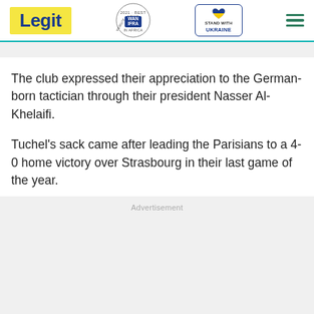Legit | WAN IFRA 2021 Best News Website in Africa | Stand With Ukraine
The club expressed their appreciation to the German-born tactician through their president Nasser Al-Khelaifi.
Tuchel's sack came after leading the Parisians to a 4-0 home victory over Strasbourg in their last game of the year.
Advertisement